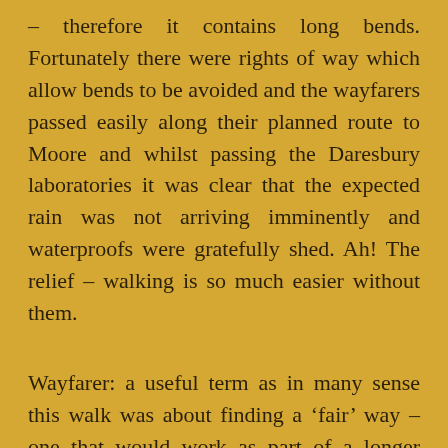– therefore it contains long bends. Fortunately there were rights of way which allow bends to be avoided and the wayfarers passed easily along their planned route to Moore and whilst passing the Daresbury laboratories it was clear that the expected rain was not arriving imminently and waterproofs were gratefully shed. Ah! The relief – walking is so much easier without them.
Wayfarer: a useful term as in many sense this walk was about finding a 'fair' way – one that would work as part of a longer trail. For